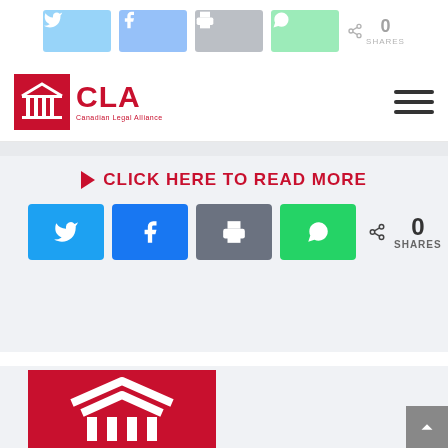[Figure (screenshot): Faded social share buttons bar at top of page (Twitter, Facebook, Print, WhatsApp) with 0 SHARES counter]
[Figure (logo): CLA (Canadian Legal Alliance) logo with red square icon showing classical building/columns, red CLA text, and small subtitle text]
[Figure (screenshot): Hamburger menu icon (three horizontal lines)]
CLICK HERE TO READ MORE
[Figure (screenshot): Social share buttons row: Twitter (blue), Facebook (blue), Print (gray), WhatsApp (green), with 0 SHARES count]
[Figure (logo): Red square image with white house/building icon (roofline and columns) resembling the CLA building logo, large format card image]